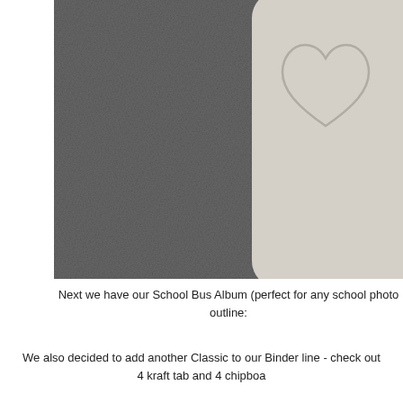[Figure (photo): A close-up photo of a light gray chipboard or cardboard piece with a heart shape embossed/cut out of it, placed on a dark charcoal gray fabric or felt background.]
Next we have our School Bus Album (perfect for any school photo outline:
We also decided to add another Classic to our Binder line - check out 4 kraft tab and 4 chipboa